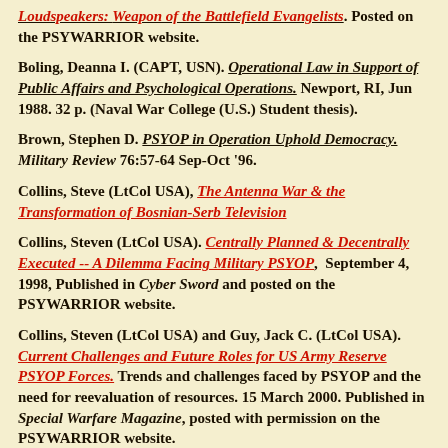Loudspeakers: Weapon of the Battlefield Evangelists. Posted on the PSYWARRIOR website.
Boling, Deanna I. (CAPT, USN). Operational Law in Support of Public Affairs and Psychological Operations. Newport, RI, Jun 1988. 32 p. (Naval War College (U.S.) Student thesis).
Brown, Stephen D. PSYOP in Operation Uphold Democracy. Military Review 76:57-64 Sep-Oct '96.
Collins, Steve (LtCol USA), The Antenna War & the Transformation of Bosnian-Serb Television
Collins, Steven (LtCol USA). Centrally Planned & Decentrally Executed -- A Dilemma Facing Military PSYOP, September 4, 1998, Published in Cyber Sword and posted on the PSYWARRIOR website.
Collins, Steven (LtCol USA) and Guy, Jack C. (LtCol USA). Current Challenges and Future Roles for US Army Reserve PSYOP Forces. Trends and challenges faced by PSYOP and the need for reevaluation of resources. 15 March 2000. Published in Special Warfare Magazine, posted with permission on the PSYWARRIOR website.